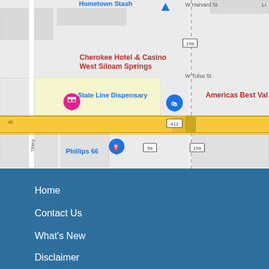[Figure (map): Google Maps screenshot showing West Siloam Springs area with Cherokee Hotel & Casino, State Line Dispensary, Phillips 66, Americas Best Value Inn, and road markers for routes 412, 59, and 159. A state line (dashed) runs vertically through the map.]
Home
Contact Us
What's New
Disclaimer